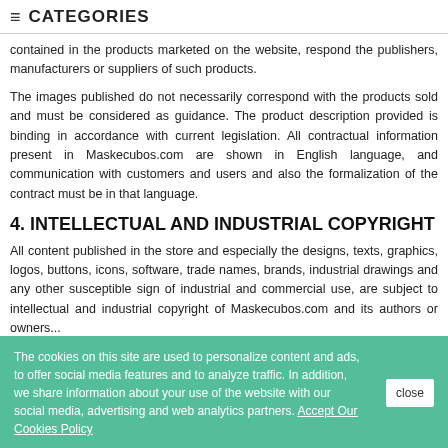≡  CATEGORIES
contained in the products marketed on the website, respond the publishers, manufacturers or suppliers of such products.
The images published do not necessarily correspond with the products sold and must be considered as guidance. The product description provided is binding in accordance with current legislation. All contractual information present in Maskecubos.com are shown in English language, and communication with customers and users and also the formalization of the contract must be in that language.
4. INTELLECTUAL AND INDUSTRIAL COPYRIGHT
All content published in the store and especially the designs, texts, graphics, logos, buttons, icons, software, trade names, brands, industrial drawings and any other susceptible sign of industrial and commercial use, are subject to intellectual and industrial copyright of Maskecubos.com and its authors or owners...
The cookies on this site are used to personalize content and ads, to offer social media features and to analyze traffic. In addition, we share information about your use of the website with our social media, advertising and web analytics partners. Accept Our Cookies Policy